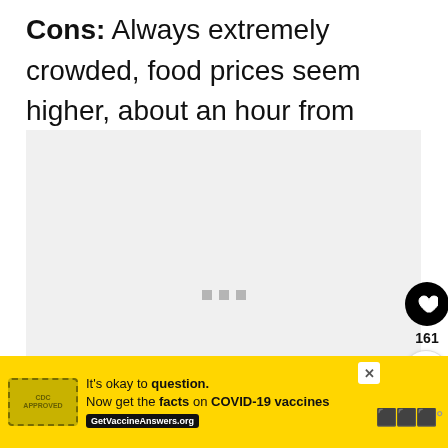Cons: Always extremely crowded, food prices seem higher, about an hour from downtown Taipei
[Figure (photo): A large light gray image placeholder area with three small gray square dots in the center, a black circular heart/like button on the right side showing 161 likes, a white circular share button, and a 'WHAT'S NEXT' card in the bottom-right corner showing 'Take a Day Trip from...' with a crowd thumbnail image]
WHAT'S NEXT → Take a Day Trip from...
It's okay to question. Now get the facts on COVID-19 vaccines GetVaccineAnswers.org